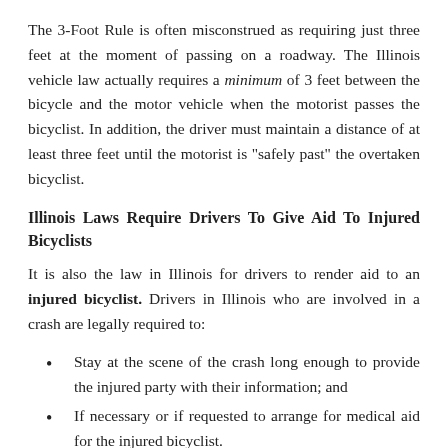The 3-Foot Rule is often misconstrued as requiring just three feet at the moment of passing on a roadway. The Illinois vehicle law actually requires a minimum of 3 feet between the bicycle and the motor vehicle when the motorist passes the bicyclist. In addition, the driver must maintain a distance of at least three feet until the motorist is "safely past" the overtaken bicyclist.
Illinois Laws Require Drivers To Give Aid To Injured Bicyclists
It is also the law in Illinois for drivers to render aid to an injured bicyclist. Drivers in Illinois who are involved in a crash are legally required to:
Stay at the scene of the crash long enough to provide the injured party with their information; and
If necessary or if requested to arrange for medical aid for the injured bicyclist.